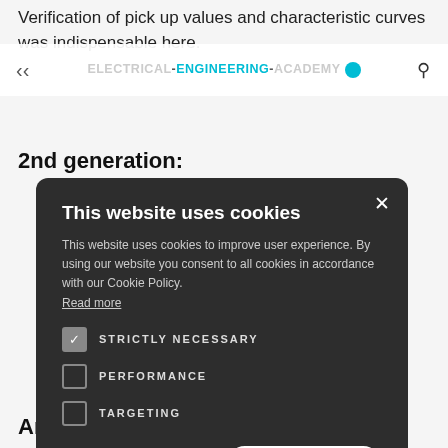Verification of pick up values and characteristic curves was indispensable here.
ELECTRICAL-ENGINEERING ACADEMY
2nd generation:
ology, time. This rotection also rolytic drift". We have
MW generator ea. The tics, all starting uaranteed by every repeat
[Figure (screenshot): Cookie consent modal dialog on a dark background. Title: 'This website uses cookies'. Body text: 'This website uses cookies to improve user experience. By using our website you consent to all cookies in accordance with our Cookie Policy. Read more'. Three checkboxes: STRICTLY NECESSARY (checked), PERFORMANCE (unchecked), TARGETING (unchecked). Two buttons: ACCEPT ALL (green) and DECLINE ALL (outlined). Show details option at bottom.]
And today?